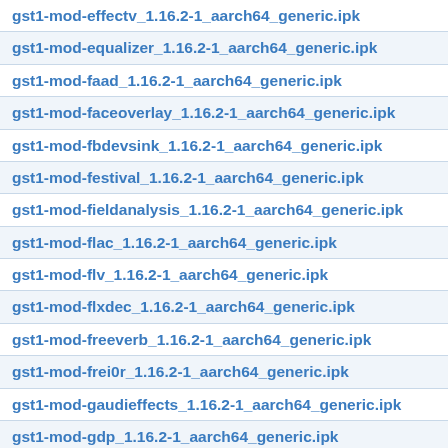gst1-mod-effectv_1.16.2-1_aarch64_generic.ipk
gst1-mod-equalizer_1.16.2-1_aarch64_generic.ipk
gst1-mod-faad_1.16.2-1_aarch64_generic.ipk
gst1-mod-faceoverlay_1.16.2-1_aarch64_generic.ipk
gst1-mod-fbdevsink_1.16.2-1_aarch64_generic.ipk
gst1-mod-festival_1.16.2-1_aarch64_generic.ipk
gst1-mod-fieldanalysis_1.16.2-1_aarch64_generic.ipk
gst1-mod-flac_1.16.2-1_aarch64_generic.ipk
gst1-mod-flv_1.16.2-1_aarch64_generic.ipk
gst1-mod-flxdec_1.16.2-1_aarch64_generic.ipk
gst1-mod-freeverb_1.16.2-1_aarch64_generic.ipk
gst1-mod-frei0r_1.16.2-1_aarch64_generic.ipk
gst1-mod-gaudieffects_1.16.2-1_aarch64_generic.ipk
gst1-mod-gdp_1.16.2-1_aarch64_generic.ipk
gst1-mod-geometrictransform_1.16.2-1_aarch64_generic.ipk
gst1-mod-gio_1.16.2-1_aarch64_generic.ipk
gst1-mod-goom2k1_1.16.2-1_aarch64_generic.ipk
gst1-mod-goom_1.16.2-1_aarch64_generic.ipk
gst1-mod-hls_1.16.2-1_aarch64_generic.ipk
gst1-mod-icydemux_1.16.2-1_aarch64_generic.ipk